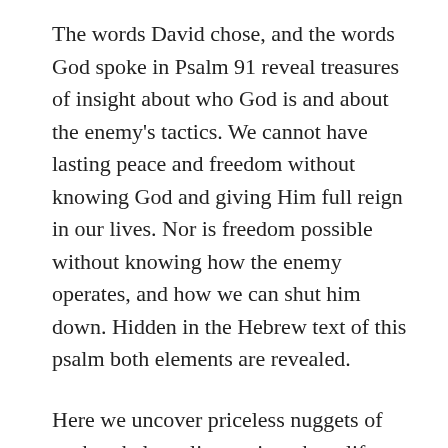The words David chose, and the words God spoke in Psalm 91 reveal treasures of insight about who God is and about the enemy's tactics. We cannot have lasting peace and freedom without knowing God and giving Him full reign in our lives. Nor is freedom possible without knowing how the enemy operates, and how we can shut him down. Hidden in the Hebrew text of this psalm both elements are revealed.
Here we uncover priceless nuggets of truth to help us live a triumphant life. There are also conversations I had with God through this process. I believe my journal notes, added to each chapter, will cause you to love and trust God...